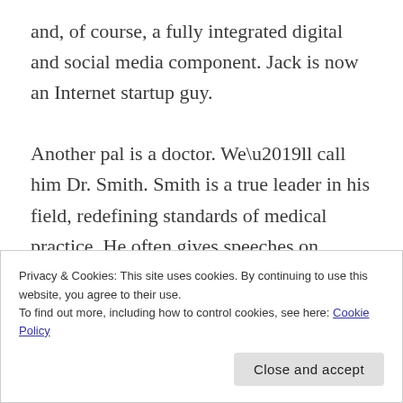and, of course, a fully integrated digital and social media component. Jack is now an Internet startup guy.

Another pal is a doctor. We’ll call him Dr. Smith. Smith is a true leader in his field, redefining standards of medical practice. He often gives speeches on what’s broken in the medical world, and holds salons
Privacy & Cookies: This site uses cookies. By continuing to use this website, you agree to their use.
To find out more, including how to control cookies, see here: Cookie Policy
Close and accept